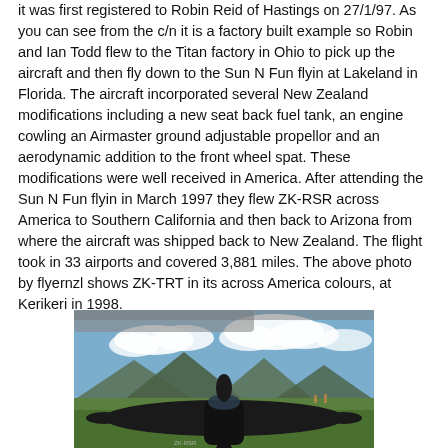it was first registered to Robin Reid of Hastings on 27/1/97. As you can see from the c/n it is a factory built example so Robin and Ian Todd flew to the Titan factory in Ohio to pick up the aircraft and then fly down to the Sun N Fun flyin at Lakeland in Florida. The aircraft incorporated several New Zealand modifications including a new seat back fuel tank, an engine cowling an Airmaster ground adjustable propellor and an aerodynamic addition to the front wheel spat. These modifications were well received in America. After attending the Sun N Fun flyin in March 1997 they flew ZK-RSR across America to Southern California and then back to Arizona from where the aircraft was shipped back to New Zealand. The flight took in 33 airports and covered 3,881 miles. The above photo by flyernzl shows ZK-TRT in its across America colours, at Kerikeri in 1998.
[Figure (photo): Black aircraft (ZK-RSR) on grass airfield with mountains and clouds in background, shown at Kerikeri in 1998 in across America colours.]